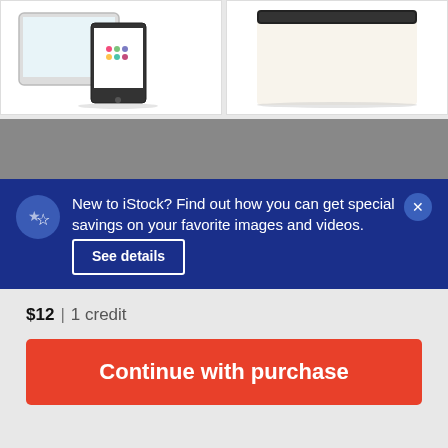[Figure (illustration): Thumbnail of tablet and smartphone devices showing a shopping app icon]
[Figure (illustration): Thumbnail of a laptop/tablet device on cream background]
[Figure (illustration): Larger image area with gray background and green strip at bottom showing 'Similar images' text]
New to iStock? Find out how you can get special savings on your favorite images and videos. See details
$12 | 1 credit
Continue with purchase